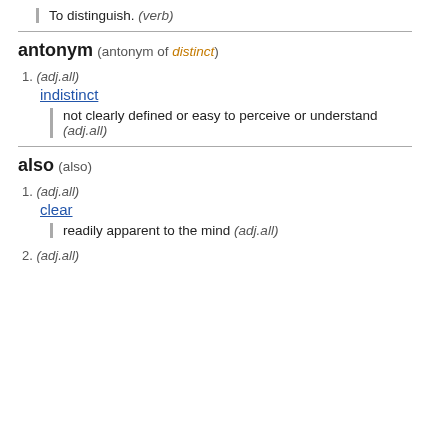To distinguish. (verb)
antonym (antonym of distinct)
1. (adj.all)
indistinct
not clearly defined or easy to perceive or understand (adj.all)
also (also)
1. (adj.all)
clear
readily apparent to the mind (adj.all)
2. (adj.all)